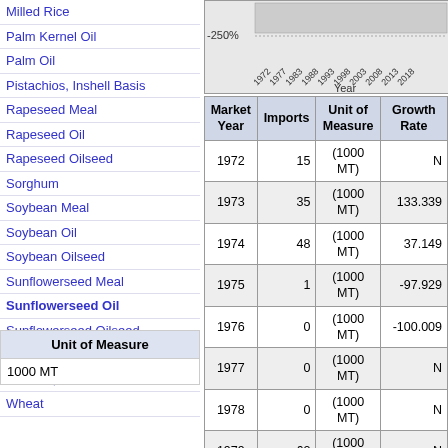Milled Rice
Palm Kernel Oil
Palm Oil
Pistachios, Inshell Basis
Rapeseed Meal
Rapeseed Oil
Rapeseed Oilseed
Sorghum
Soybean Meal
Soybean Oil
Soybean Oilseed
Sunflowerseed Meal
Sunflowerseed Oil
Sunflowerseed Oilseed
Swine Meat
Walnuts, Inshell Basis
Wheat
| Unit of Measure |
| --- |
| 1000 MT |
[Figure (continuous-plot): Line/bar chart showing growth rate over years 1972-2018, with y-axis at -250%]
| Market Year | Imports | Unit of Measure | Growth Rate |
| --- | --- | --- | --- |
| 1972 | 15 | (1000 MT) | N |
| 1973 | 35 | (1000 MT) | 133.339 |
| 1974 | 48 | (1000 MT) | 37.149 |
| 1975 | 1 | (1000 MT) | -97.929 |
| 1976 | 0 | (1000 MT) | -100.009 |
| 1977 | 0 | (1000 MT) | N |
| 1978 | 0 | (1000 MT) | N |
| 1979 | 62 | (1000 MT) | N |